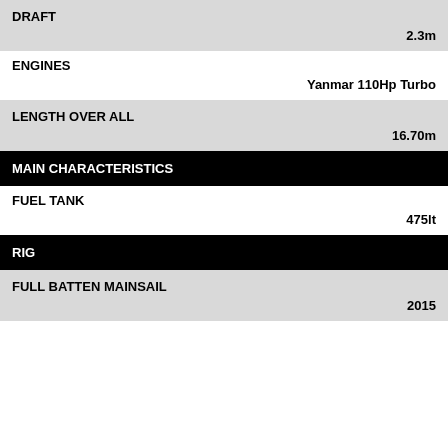DRAFT
2.3m
ENGINES
Yanmar 110Hp Turbo
LENGTH OVER ALL
16.70m
MAIN CHARACTERISTICS
FUEL TANK
475lt
RIG
FULL BATTEN MAINSAIL
2015